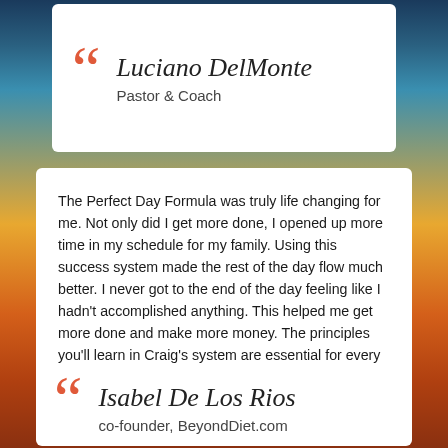Luciano DelMonte
Pastor & Coach
The Perfect Day Formula was truly life changing for me. Not only did I get more done, I opened up more time in my schedule for my family. Using this success system made the rest of the day flow much better. I never got to the end of the day feeling like I hadn't accomplished anything. This helped me get more done and make more money. The principles you'll learn in Craig's system are essential for every busy entrepreneur, as well as any busy parent who wants to feel accomplished each day.
Isabel De Los Rios
co-founder, BeyondDiet.com